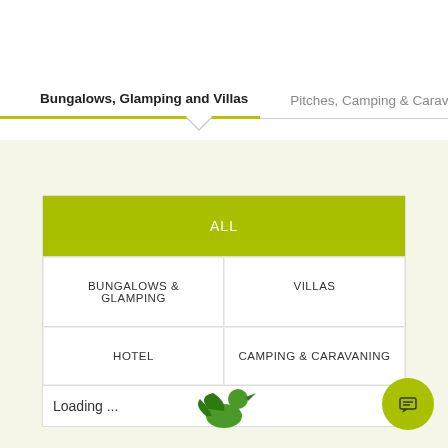Bungalows, Glamping and Villas | Pitches, Camping & Caravaning
ALL
BUNGALOWS & GLAMPING
VILLAS
HOTEL
CAMPING & CARAVANING
Loading ...
[Figure (logo): Green animal/duck logo at bottom center, plus circular green chat button at bottom right]